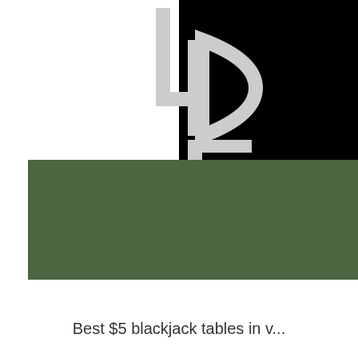[Figure (logo): A stylized key logo in light gray displayed over a split white and black background. The key symbol contains letters resembling L, D, and F arranged as a key shape. Below the key is a small white square with three horizontal lines (hamburger menu icon).]
[Figure (screenshot): A social media profile card with a green banner, a circular gray avatar with the letter B, a Follow button with white border, and a three-dot menu icon.]
Best $5 blackjack tables in v...